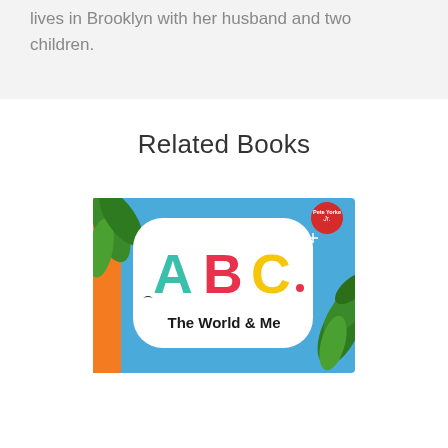lives in Brooklyn with her husband and two children.
Related Books
[Figure (photo): Book cover of 'ABC The World & Me' — colorful children's book with large ABC letters in green, pink/red, and yellow on a blue background with tropical leaves and 'The World & Me' text below. A red circle badge in the top right corner reads 'Pete Yorke Jr.']